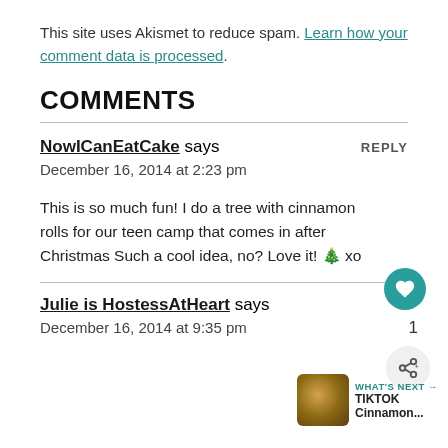This site uses Akismet to reduce spam. Learn how your comment data is processed.
COMMENTS
NowICanEatCake says
December 16, 2014 at 2:23 pm
This is so much fun! I do a tree with cinnamon rolls for our teen camp that comes in after Christmas Such a cool idea, no? Love it! 🎄 xo
Julie is HostessAtHeart says
December 16, 2014 at 9:35 pm